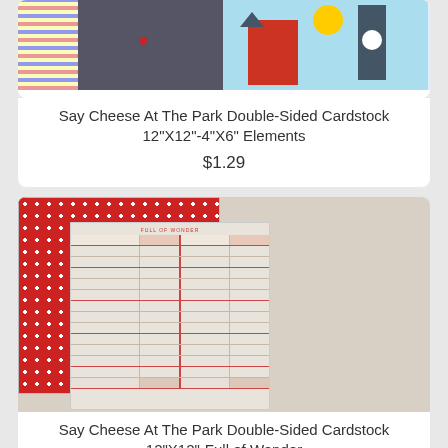[Figure (photo): Top partial product card showing scrapbook paper with plaid, dark scene, and park scene images]
Say Cheese At The Park Double-Sided Cardstock 12"X12"-4"X6" Elements
$1.29
[Figure (photo): Second product card showing double-sided cardstock with red polka dot pattern and ledger/lined paper design]
Say Cheese At The Park Double-Sided Cardstock 12"X12"-Full of Wonder
$1.29